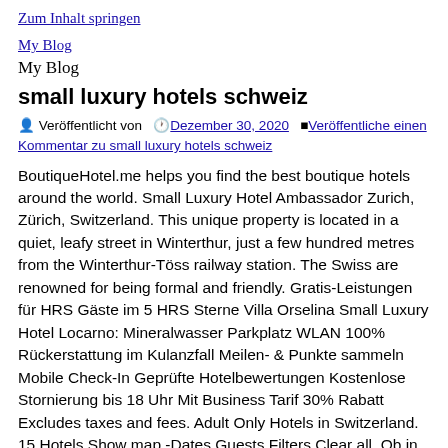Zum Inhalt springen
My Blog
My Blog
small luxury hotels schweiz
Veröffentlicht von  Dezember 30, 2020  Veröffentliche einen Kommentar zu small luxury hotels schweiz
BoutiqueHotel.me helps you find the best boutique hotels around the world. Small Luxury Hotel Ambassador Zurich, Zürich, Switzerland. This unique property is located in a quiet, leafy street in Winterthur, just a few hundred metres from the Winterthur-Töss railway station. The Swiss are renowned for being formal and friendly. Gratis-Leistungen für HRS Gäste im 5 HRS Sterne Villa Orselina Small Luxury Hotel Locarno: Mineralwasser Parkplatz WLAN 100% Rückerstattung im Kulanzfall Meilen- & Punkte sammeln Mobile Check-In Geprüfte Hotelbewertungen Kostenlose Stornierung bis 18 Uhr Mit Business Tarif 30% Rabatt Excludes taxes and fees. Adult Only Hotels in Switzerland. 15 Hotels Show map -Dates Guests Filters Clear all. Ob in Städten wie Bern, Genf und Zürich oder in den klassischen Urlaubsorten Gstaad, Klosters und Zermatt: Der Gast und sein Wohlstehen überall im